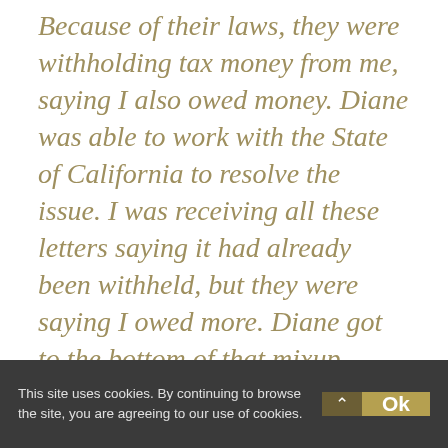Because of their laws, they were withholding tax money from me, saying I also owed money. Diane was able to work with the State of California to resolve the issue. I was receiving all these letters saying it had already been withheld, but they were saying I owed more. Diane got to the bottom of that mixup, spending lots of time on the phone to get it sorted out. It absolutely saved me a lot of anxiety and time"
This site uses cookies. By continuing to browse the site, you are agreeing to our use of cookies.